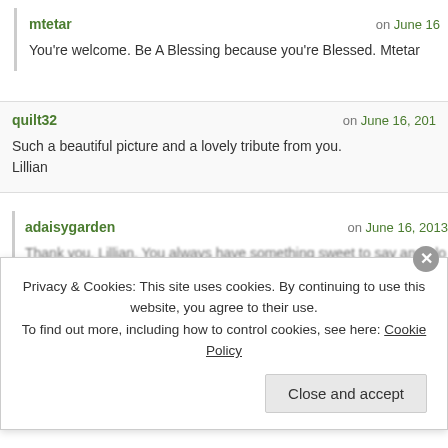mtetar on June 16
You’re welcome. Be A Blessing because you’re Blessed. Mtetar
quilt32 on June 16, 201
Such a beautiful picture and a lovely tribute from you.
Lillian
adaisygarden on June 16, 2013
Thank you, Lillian. You always have something sweet to say and I lo…
Privacy & Cookies: This site uses cookies. By continuing to use this website, you agree to their use.
To find out more, including how to control cookies, see here: Cookie Policy
Close and accept